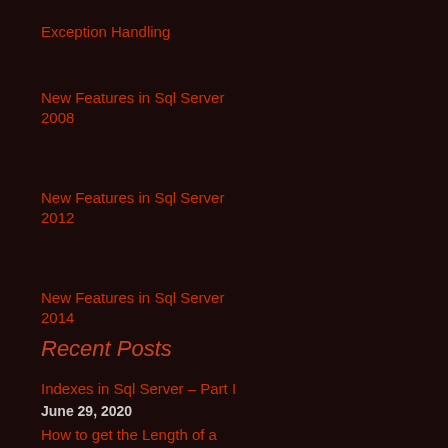Exception Handling
New Features in Sql Server 2008
New Features in Sql Server 2012
New Features in Sql Server 2014
Recent Posts
Indexes in Sql Server – Part I
June 29, 2020
How to get the Length of a